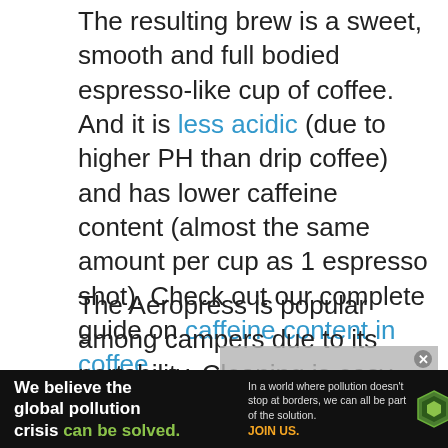The resulting brew is a sweet, smooth and full bodied espresso-like cup of coffee. And it is less acidic (due to higher PH than drip coffee) and has lower caffeine content (almost the same amount per cup as 1 espresso shot). Check out our complete guide on caffeine content in coffee.
The Aeropress is popular among campers due to its portability. Cleaning is easy too – remove the filter and ground coffee from the basket, and give it a rinse with hot water.
[Figure (screenshot): Video player overlay showing 'No compatible source was found for this' error message, with 'How to Choose a Super Automatic' text partial caption visible. A close button in top right corner.]
[Figure (screenshot): Advertisement banner for Pure Earth: 'We believe the global pollution crisis can be solved.' / 'In a world where pollution doesn't stop at borders, we can all be part of the solution. JOIN US.' with Pure Earth logo.]